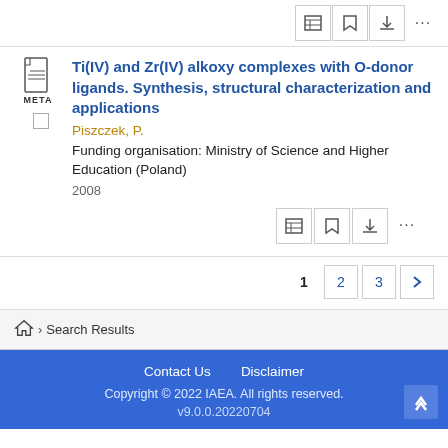Ti(IV) and Zr(IV) alkoxy complexes with O-donor ligands. Synthesis, structural characterization and applications
Piszczek, P.
Funding organisation: Ministry of Science and Higher Education (Poland)
2008
1  2  3  >
Search Results
Contact Us   Disclaimer
Copyright © 2022 IAEA. All rights reserved.
v9.0.0.20220704